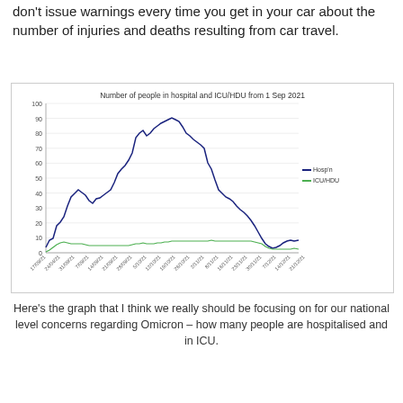don't issue warnings every time you get in your car about the number of injuries and deaths resulting from car travel.
[Figure (line-chart): Line chart showing hospitalisation and ICU/HDU numbers from Sep 2021 to Feb 2022, with a large peak around Nov-Dec 2021 reaching ~95 for hospital and ~10 for ICU/HDU.]
Here's the graph that I think we really should be focusing on for our national level concerns regarding Omicron – how many people are hospitalised and in ICU.